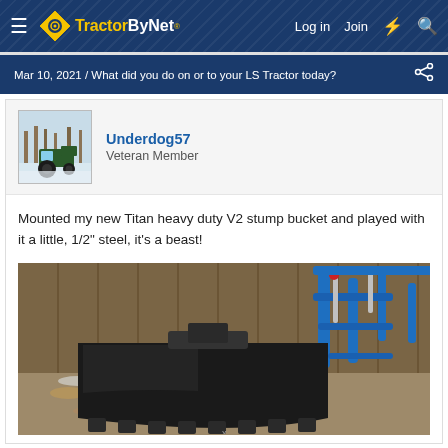TractorByNet — Log in | Join
Mar 10, 2021 / What did you do on or to your LS Tractor today?
Underdog57
Veteran Member
Mounted my new Titan heavy duty V2 stump bucket and played with it a little, 1/2" steel, it's a beast!
[Figure (photo): Photo of a black Titan V2 stump bucket attachment mounted on a blue tractor loader, outdoors with bare ground and brush visible in background]